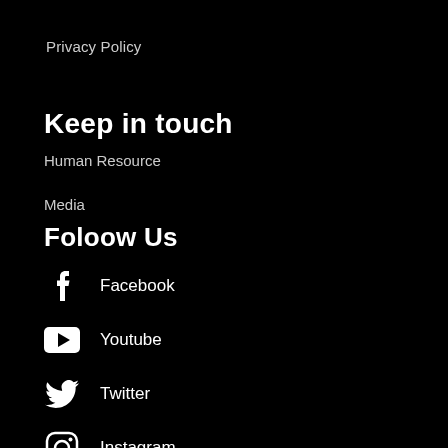Privacy Policy
Keep in touch
Human Resource
Media
Foloow Us
Facebook
Youtube
Twitter
Instagram
Pinterest